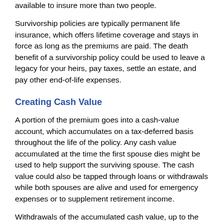available to insure more than two people.
Survivorship policies are typically permanent life insurance, which offers lifetime coverage and stays in force as long as the premiums are paid. The death benefit of a survivorship policy could be used to leave a legacy for your heirs, pay taxes, settle an estate, and pay other end-of-life expenses.
Creating Cash Value
A portion of the premium goes into a cash-value account, which accumulates on a tax-deferred basis throughout the life of the policy. Any cash value accumulated at the time the first spouse dies might be used to help support the surviving spouse. The cash value could also be tapped through loans or withdrawals while both spouses are alive and used for emergency expenses or to supplement retirement income.
Withdrawals of the accumulated cash value, up to the amount of the premiums paid, are not subject to income tax. Loans are also free of income tax as long as they are repaid. Loans and withdrawals will reduce the policy's cash value and death benefit and could increase the chance that the policy will